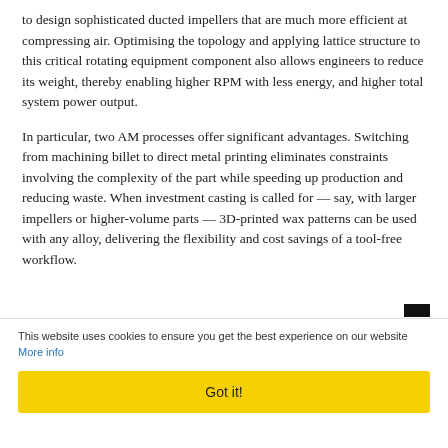to design sophisticated ducted impellers that are much more efficient at compressing air. Optimising the topology and applying lattice structure to this critical rotating equipment component also allows engineers to reduce its weight, thereby enabling higher RPM with less energy, and higher total system power output.
In particular, two AM processes offer significant advantages. Switching from machining billet to direct metal printing eliminates constraints involving the complexity of the part while speeding up production and reducing waste. When investment casting is called for — say, with larger impellers or higher-volume parts — 3D-printed wax patterns can be used with any alloy, delivering the flexibility and cost savings of a tool-free workflow.
This website uses cookies to ensure you get the best experience on our website More info
Got it!